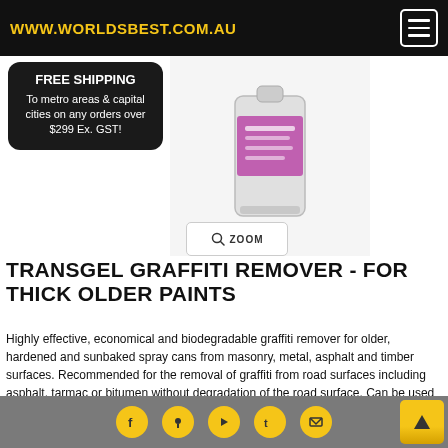www.worldsbest.com.au
FREE SHIPPING
To metro areas & capital cities on any orders over $299 Ex. GST!
[Figure (photo): Product image of Transgel Graffiti Remover container (white/grey bottle with purple label)]
TRANSGEL GRAFFITI REMOVER - FOR THICK OLDER PAINTS
Highly effective, economical and biodegradable graffiti remover for older, hardened and sunbaked spray cans from masonry, metal, asphalt and timber surfaces. Recommended for the removal of graffiti from road surfaces including asphalt, tarmac or bitumen without degradation of the road surface. Can be used on unpainted metals and pre-painted steel fencing. Transgel will remove hard sunbaked murals on trains left in yards and thicker spray can and acrylic murals from buildings. Transgel is particularly useful for removing white and yellow spray cans. 1 litre will remove up to approx. 3-5 sq mtrs.
Social media icons: Facebook, Google, YouTube, Twitter, Email